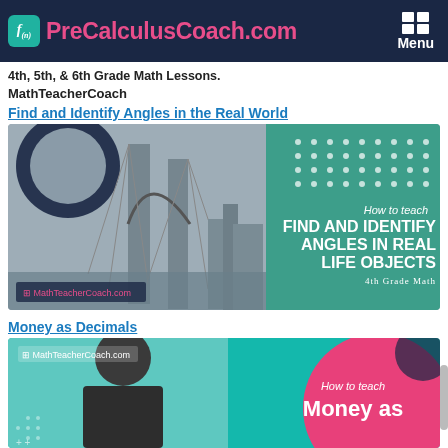PreCalculusCoach.com | Menu
4th, 5th, & 6th Grade Math Lessons. MathTeacherCoach
Find and Identify Angles in the Real World
[Figure (photo): Thumbnail image for 'Find and Identify Angles in Real Life Objects' 4th Grade Math lesson on MathTeacherCoach.com, featuring Brooklyn Bridge photo with teal overlay and bold white text.]
Money as Decimals
[Figure (photo): Thumbnail image for 'Money as Decimals' lesson on MathTeacherCoach.com, featuring a student with a teal background and pink circle with 'How to teach Money as' text.]